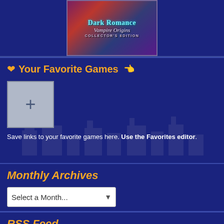[Figure (illustration): Game cover art for Dark Romance: Vampire Origins Collector's Edition]
Your Favorite Games
[Figure (other): A gray add/plus button box for adding favorite games]
Save links to your favorite games here. Use the Favorites editor.
Monthly Archives
Select a Month...
RSS Feed